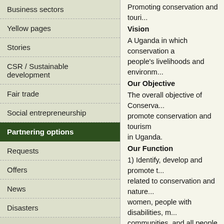Business sectors
Yellow pages
Stories
CSR / Sustainable development
Fair trade
Social entrepreneurship
Partnering options
Requests
Offers
News
Disasters
Promoting conservation and tourism... Vision A Uganda in which conservation and people's livelihoods and environment... Our Objective The overall objective of Conservation Uganda is to promote conservation and tourism in Uganda. Our Function 1) Identify, develop and promote training related to conservation and nature based tourism for women, people with disabilities, marginalised communities, and all people in Uganda for better people and environment conservation... 2) Generate, document and disseminate knowledge on conservation and tourism related policies and practice in Uganda... 3) Become a member or cooperate with associations, foundations, organisations whose objectives and activities are similar to our objectives and activities. 4) Receive, keep, spend, invest or use funds bequeathed or assigned to the CTU to fulfill its objectives in a way making sure members of CTU and, acquire and hold moveable estates, loans and any other Assets...